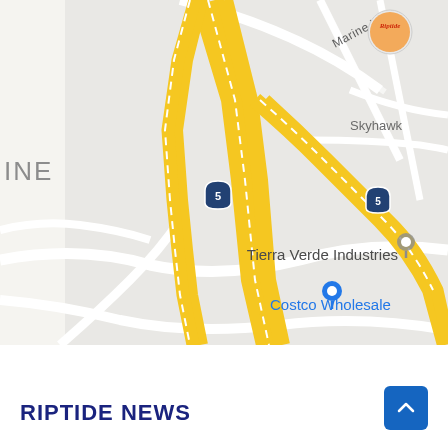[Figure (map): Google Maps screenshot showing area with Interstate 5 highway (yellow roads), Marine Way street label, Tierra Verde Industries location marker, Costco Wholesale location marker, Riptide logo/pin in upper right, Skyhawk label, and partial 'INE' text on left edge.]
RIPTIDE NEWS